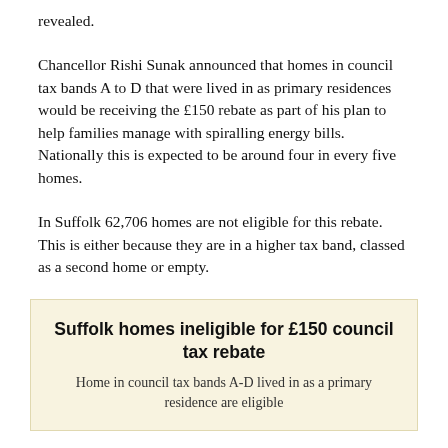revealed.
Chancellor Rishi Sunak announced that homes in council tax bands A to D that were lived in as primary residences would be receiving the £150 rebate as part of his plan to help families manage with spiralling energy bills. Nationally this is expected to be around four in every five homes.
In Suffolk 62,706 homes are not eligible for this rebate. This is either because they are in a higher tax band, classed as a second home or empty.
Suffolk homes ineligible for £150 council tax rebate
Home in council tax bands A-D lived in as a primary residence are eligible